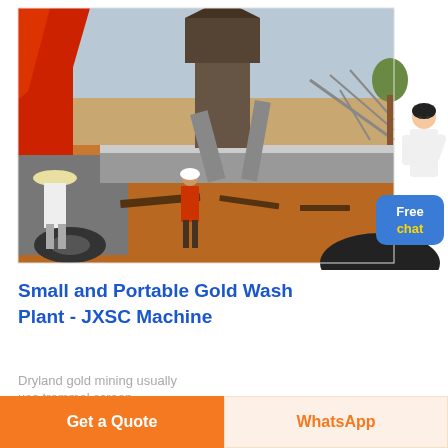[Figure (photo): Construction site showing a red crane, industrial processing tower with conveyor belts, concrete platform, and workers on orange sandy ground — a gold wash plant installation site.]
Small and Portable Gold Wash Plant - JXSC Machine
Dryland gold mining usually use trommel screen
Get a Quote
WhatsApp